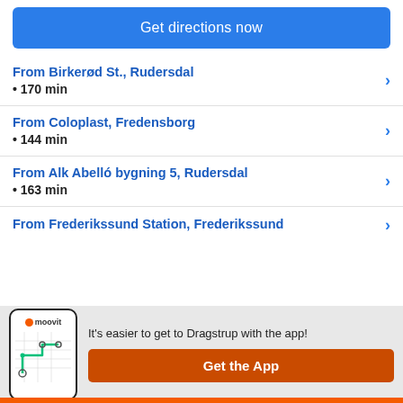Get directions now
From Birkerød St., Rudersdal • 170 min
From Coloplast, Fredensborg • 144 min
From Alk Abelló bygning 5, Rudersdal • 163 min
From Frederikssund Station, Frederikssund
It's easier to get to Dragstrup with the app!
Get the App